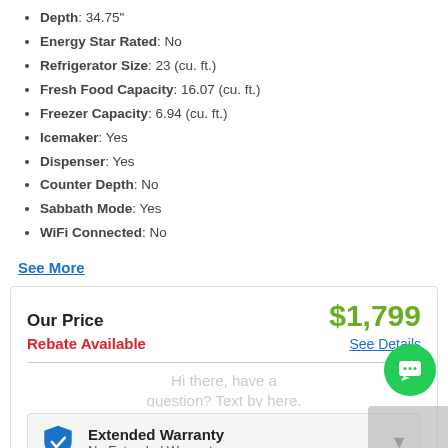Depth: 34.75"
Energy Star Rated: No
Refrigerator Size: 23 (cu. ft.)
Fresh Food Capacity: 16.07 (cu. ft.)
Freezer Capacity: 6.94 (cu. ft.)
Icemaker: Yes
Dispenser: Yes
Counter Depth: No
Sabbath Mode: Yes
WiFi Connected: No
See More
Our Price $1,799 Rebate Available See Details
Extended Warranty No Extended Warranty
Enter Zip Code * For delivery options and item availability.